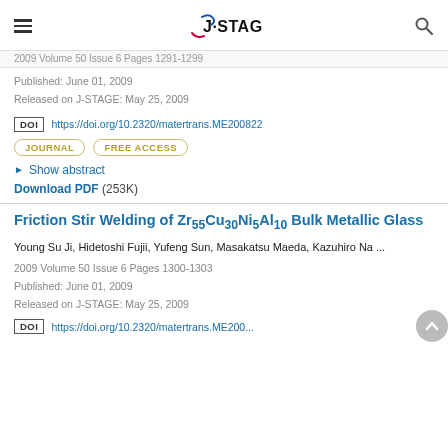J-STAGE
2009 Volume 50 Issue 6 Pages 1291-1299 (partial, cut off)
Published: June 01, 2009
Released on J-STAGE: May 25, 2009
DOI https://doi.org/10.2320/matertrans.ME200822
JOURNAL   FREE ACCESS
Show abstract
Download PDF (253K)
Friction Stir Welding of Zr55Cu30Ni5Al10 Bulk Metallic Glass
Young Su Ji, Hidetoshi Fujii, Yufeng Sun, Masakatsu Maeda, Kazuhiro Na ...
2009 Volume 50 Issue 6 Pages 1300-1303
Published: June 01, 2009
Released on J-STAGE: May 25, 2009
https://doi.org/10.2320/matertrans.ME200... (cut off)